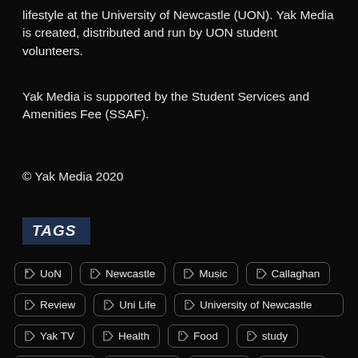lifestyle at the University of Newcastle (UON). Yak Media is created, distributed and run by UON student volunteers.
Yak Media is supported by the Student Services and Amenities Fee (SSAF).
© Yak Media 2020
TAGS
UoN
Newcastle
Music
Callaghan
Review
Uni Life
University of Newcastle
Yak TV
Health
Food
study
university
students
video
events